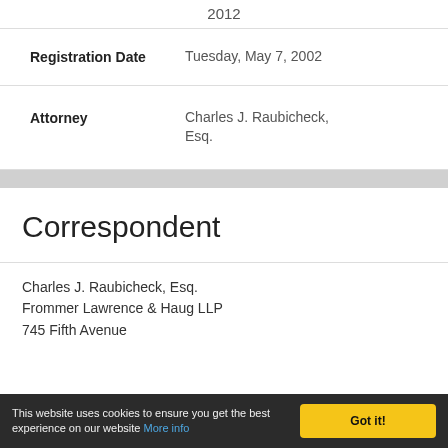2012
| Registration Date | Tuesday, May 7, 2002 |
| Attorney | Charles J. Raubicheck, Esq. |
Correspondent
Charles J. Raubicheck, Esq.
Frommer Lawrence & Haug LLP
745 Fifth Avenue
This website uses cookies to ensure you get the best experience on our website More info